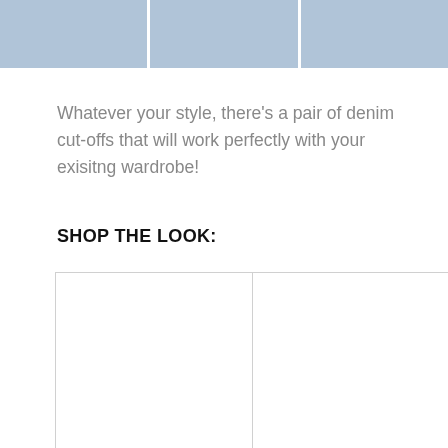[Figure (photo): Three photos of people wearing denim cut-off shorts arranged side by side in a horizontal strip at the top of the page]
Whatever your style, there's a pair of denim cut-offs that will work perfectly with your exisitng wardrobe!
SHOP THE LOOK:
[Figure (photo): Two empty product image boxes side by side with light gray borders, for shopping the look]